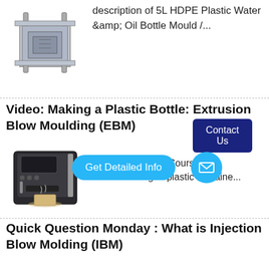[Figure (photo): Industrial plastic injection mould — a heavy square steel mould with guide pins at corners]
description of 5L HDPE Plastic Water & Oil Bottle Mould /...
Contact Us
Video: Making a Plastic Bottle: Extrusion Blow Moulding (EBM)
[Figure (photo): Automatic coffee machine with steam and cup]
Get Detailed Info
Packaging Crash Course the manufacturing of plastic containe...
Contact Us
Quick Question Monday : What is Injection Blow Molding (IBM)